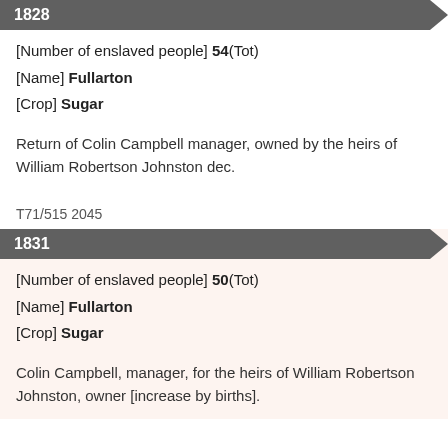1828
[Number of enslaved people] 54(Tot)
[Name] Fullarton
[Crop] Sugar
Return of Colin Campbell manager, owned by the heirs of William Robertson Johnston dec.
T71/515 2045
1831
[Number of enslaved people] 50(Tot)
[Name] Fullarton
[Crop] Sugar
Colin Campbell, manager, for the heirs of William Robertson Johnston, owner [increase by births].